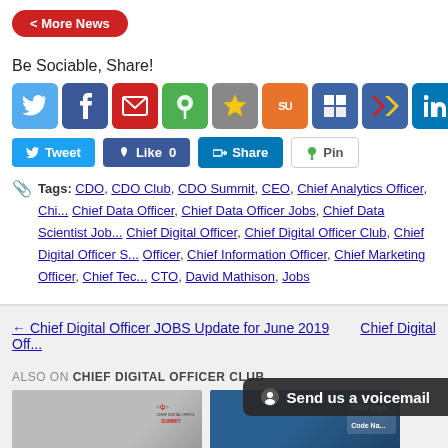< More News
Be Sociable, Share!
[Figure (infographic): Social media sharing icons: Twitter, Facebook, Email, Pinboard, Favorites, StumbleUpon, Delicious, Google+, LinkedIn, More]
[Figure (infographic): Social sharing buttons: Tweet, Like 0, Share, Pin]
Tags: CDO, CDO Club, CDO Summit, CEO, Chief Analytics Officer, Chi..., Chief Data Officer, Chief Data Officer Jobs, Chief Data Scientist Job..., Chief Digital Officer, Chief Digital Officer Club, Chief Digital Officer S..., Officer, Chief Information Officer, Chief Marketing Officer, Chief Tec..., CTO, David Mathison, Jobs
← Chief Digital Officer JOBS Update for June 2019
Chief Digital Off...
ALSO ON CHIEF DIGITAL OFFICER CLUB
[Figure (photo): Photo of speaker at Chief Digital Officer Summit with overlay text 'Number of Chief Digital ... eers Doubled in']
[Figure (photo): Photo of man in front of Chief Digital Officer related backdrop with overlay text 'Chief Digital Officer:']
Send us a voicemail